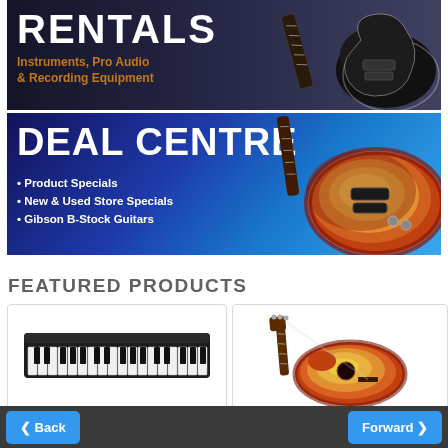[Figure (infographic): Rentals banner showing bold white RENTALS text with orange subtitle 'Instruments, Pro Audio & Recording Equipment' and electric guitar silhouette on dark background]
[Figure (infographic): Deal Centre banner with large white DEAL CENTRE text, bullet points listing Product Specials, New & Used Store Specials, Gibson B-Stock Guitars, and a Les Paul style guitar on blue gradient background]
FEATURED PRODUCTS
[Figure (photo): Black digital piano/keyboard instrument]
[Figure (photo): Sunburst acoustic guitar]
Back  Forward